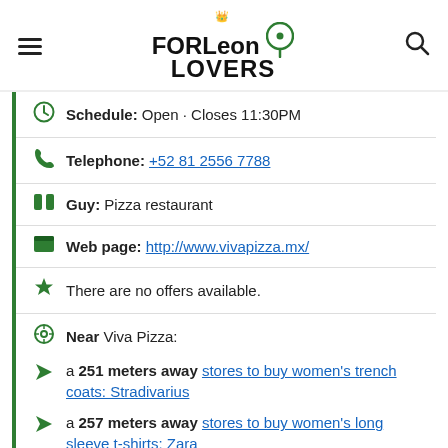FORLeon LOVERS
Schedule: Open · Closes 11:30PM
Telephone: +52 81 2556 7788
Guy: Pizza restaurant
Web page: http://www.vivapizza.mx/
There are no offers available.
Near Viva Pizza:
a 251 meters away stores to buy women's trench coats: Stradivarius
a 257 meters away stores to buy women's long sleeve t-shirts: Zara
Are you the owner of the business? PROMOTE IT!